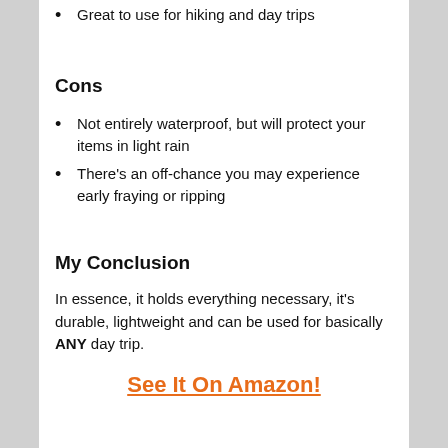Great to use for hiking and day trips
Cons
Not entirely waterproof, but will protect your items in light rain
There's an off-chance you may experience early fraying or ripping
My Conclusion
In essence, it holds everything necessary, it's durable, lightweight and can be used for basically ANY day trip.
See It On Amazon!